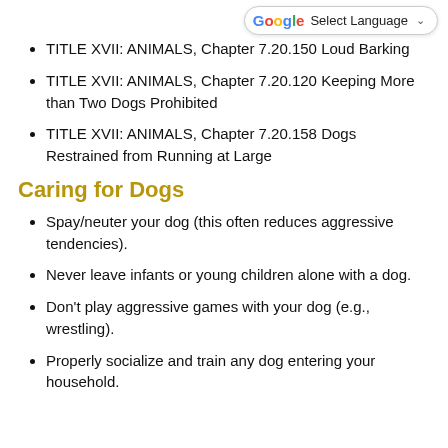TITLE XVII: ANIMALS, Chapter 7.20.150 Loud Barking
TITLE XVII: ANIMALS, Chapter 7.20.120 Keeping More than Two Dogs Prohibited
TITLE XVII: ANIMALS, Chapter 7.20.158 Dogs Restrained from Running at Large
Caring for Dogs
Spay/neuter your dog (this often reduces aggressive tendencies).
Never leave infants or young children alone with a dog.
Don't play aggressive games with your dog (e.g., wrestling).
Properly socialize and train any dog entering your household.